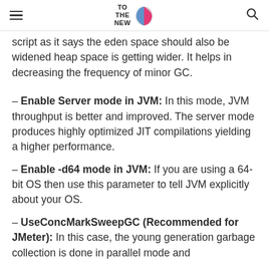TO THE NEW [logo]
script as it says the eden space should also be widened heap space is getting wider. It helps in decreasing the frequency of minor GC.
– Enable Server mode in JVM: In this mode, JVM throughput is better and improved. The server mode produces highly optimized JIT compilations yielding a higher performance.
– Enable -d64 mode in JVM: If you are using a 64-bit OS then use this parameter to tell JVM explicitly about your OS.
– UseConcMarkSweepGC (Recommended for JMeter): In this case, the young generation garbage collection is done in parallel mode and